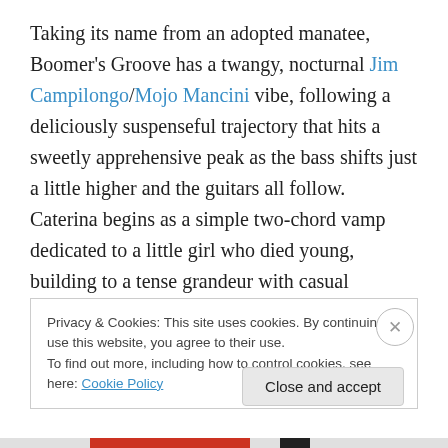Taking its name from an adopted manatee, Boomer's Groove has a twangy, nocturnal Jim Campilongo/Mojo Mancini vibe, following a deliciously suspenseful trajectory that hits a sweetly apprehensive peak as the bass shifts just a little higher and the guitars all follow. Caterina begins as a simple two-chord vamp dedicated to a little girl who died young, building to a tense grandeur with casual tremolo-picked melody sailing beneath the roar and crash, finally reaching a scream with umpteen layers of guitar
Privacy & Cookies: This site uses cookies. By continuing to use this website, you agree to their use.
To find out more, including how to control cookies, see here: Cookie Policy
Close and accept